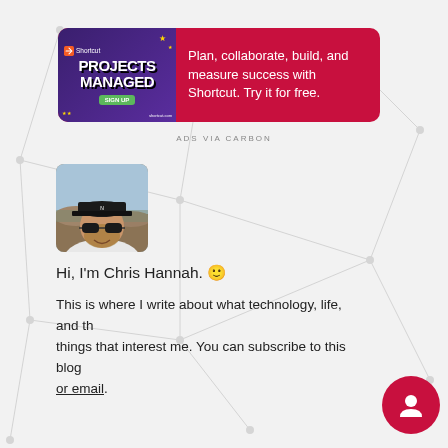[Figure (screenshot): Advertisement banner for Shortcut project management tool. Red background with purple image on left showing 'Projects Managed' text and Shortcut logo. Text reads: Plan, collaborate, build, and measure success with Shortcut. Try it for free.]
ADS VIA CARBON
[Figure (photo): Photo of Chris Hannah, a man wearing a black cap and sunglasses, smiling, outdoors. Square photo with rounded corners.]
Hi, I'm Chris Hannah. 🙂
This is where I write about what technology, life, and the things that interest me. You can subscribe to this blog by RSS or email.